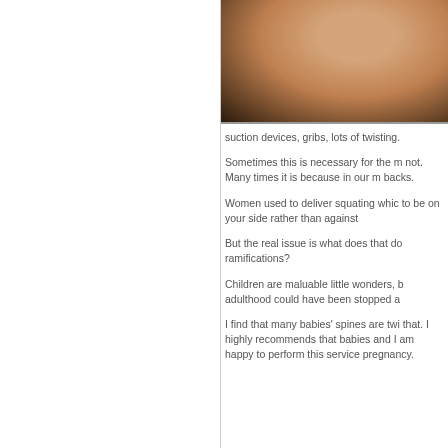[Figure (photo): Close-up photo of a baby or infant, showing skin tones against a dark background.]
suction devices, gribs, lots of twisting.
Sometimes this is necessary for the mother not. Many times it is because in our m backs.
Women used to deliver squating which to be on your side rather than against
But the real issue is what does that do ramifications?
Children are maluable little wonders, b adulthood could have been stopped a
I find that many babies' spines are twi that. I highly recommends that babies and I am happy to perform this service pregnancy.